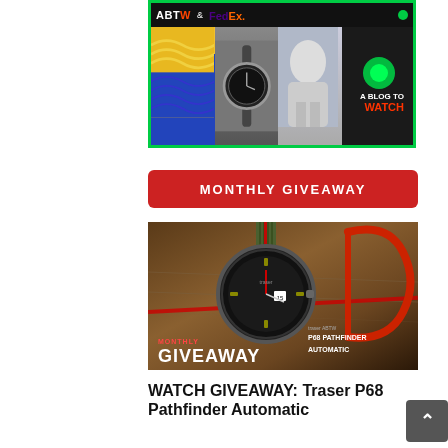[Figure (photo): ABTW and FedEx banner advertisement showing watches in a collage with A Blog To Watch logo and green dot indicator]
MONTHLY GIVEAWAY
[Figure (photo): Monthly Giveaway promotional image for traser P68 Pathfinder Automatic watch, on a map background with red carabiner, showing text: MONTHLY GIVEAWAY / P68 PATHFINDER AUTOMATIC]
WATCH GIVEAWAY: Traser P68 Pathfinder Automatic